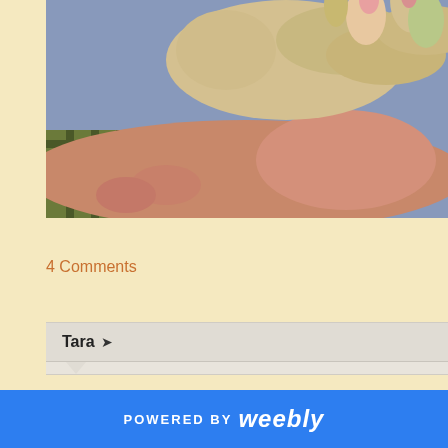[Figure (photo): Close-up photograph of hands holding a ginger root with sprouting shoots, wearing plaid shirt]
4 Comments
Tara →
Amazing Dan!!!
POWERED BY weebly